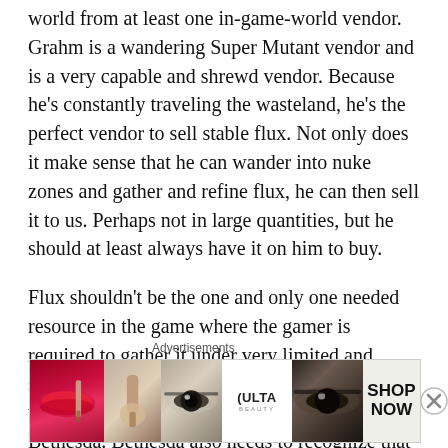world from at least one in-game-world vendor. Grahm is a wandering Super Mutant vendor and is a very capable and shrewd vendor. Because he's constantly traveling the wasteland, he's the perfect vendor to sell stable flux. Not only does it make sense that he can wander into nuke zones and gather and refine flux, he can then sell it to us. Perhaps not in large quantities, but he should at least always have it on him to buy.
Flux shouldn't be the one and only one needed resource in the game where the gamer is required to gather it under very limited and specific conditions that rarely occur. This part of the game was entirely a mishandled by Bethesda. Bethesda also needs to recognize that there is more than
Advertisements
[Figure (photo): Advertisement banner for Ulta Beauty showing close-up beauty/makeup images: lips with red lipstick and brush, eye with dramatic makeup, Ulta Beauty logo, another eye close-up, and 'SHOP NOW' text on the right.]